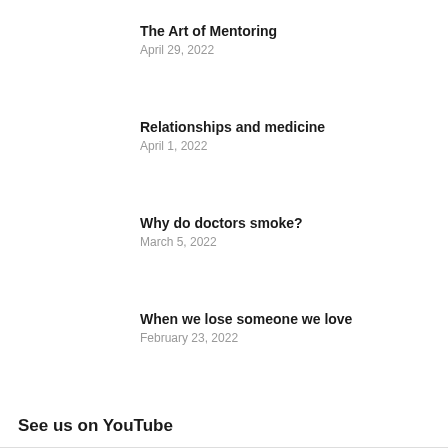The Art of Mentoring
April 29, 2022
Relationships and medicine
April 1, 2022
Why do doctors smoke?
March 5, 2022
When we lose someone we love
February 23, 2022
See us on YouTube